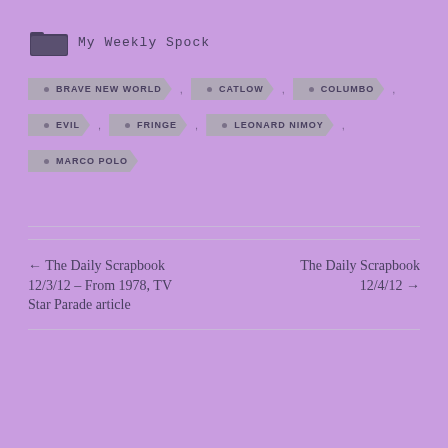My Weekly Spock
BRAVE NEW WORLD
CATLOW
COLUMBO
EVIL
FRINGE
LEONARD NIMOY
MARCO POLO
← The Daily Scrapbook 12/3/12 – From 1978, TV Star Parade article
The Daily Scrapbook 12/4/12 →